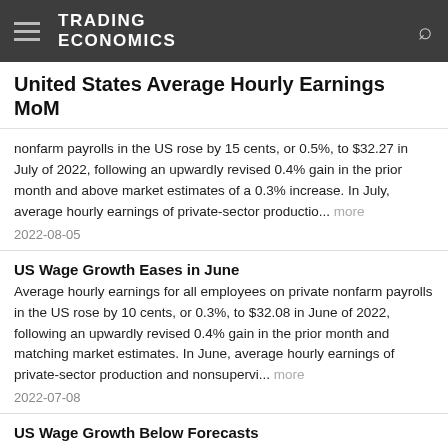TRADING ECONOMICS
United States Average Hourly Earnings MoM
nonfarm payrolls in the US rose by 15 cents, or 0.5%, to $32.27 in July of 2022, following an upwardly revised 0.4% gain in the prior month and above market estimates of a 0.3% increase. In July, average hourly earnings of private-sector productio... more
2022-08-05
US Wage Growth Eases in June
Average hourly earnings for all employees on private nonfarm payrolls in the US rose by 10 cents, or 0.3%, to $32.08 in June of 2022, following an upwardly revised 0.4% gain in the prior month and matching market estimates. In June, average hourly earnings of private-sector production and nonsupervi... more
2022-07-08
US Wage Growth Below Forecasts